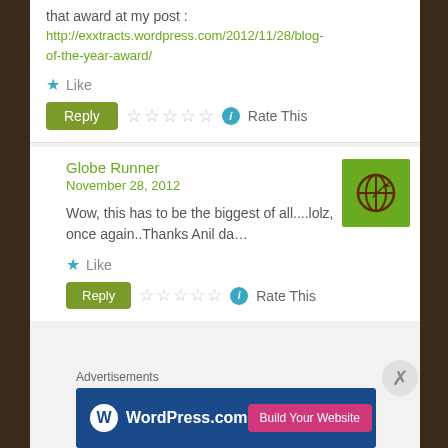that award at my post :
http://exxtracts.wordpress.com/2012/11/28/blog-of-the-year-award/
Like
Reply   Rate This
Globe Runner
November 28, 2012
Wow, this has to be the biggest of all....lolz, once again..Thanks Anil da...
Like
Reply   Rate This
Advertisements
[Figure (logo): WordPress.com advertisement banner with Build Your Website button]